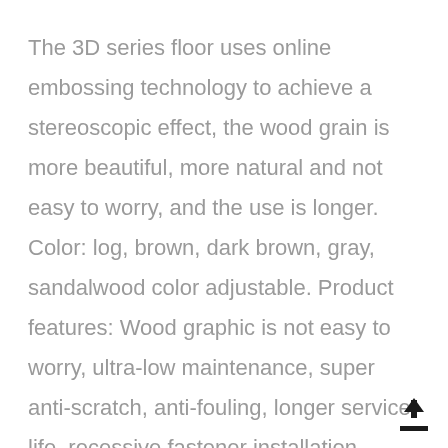The 3D series floor uses online embossing technology to achieve a stereoscopic effect, the wood grain is more beautiful, more natural and not easy to worry, and the use is longer. Color: log, brown, dark brown, gray, sandalwood color adjustable. Product features: Wood graphic is not easy to worry, ultra-low maintenance, super anti-scratch, anti-fouling, longer service life, recessive fastener installation.
[Figure (illustration): Upload/share icon (upward arrow with a tray/platform) in dark color at bottom right]